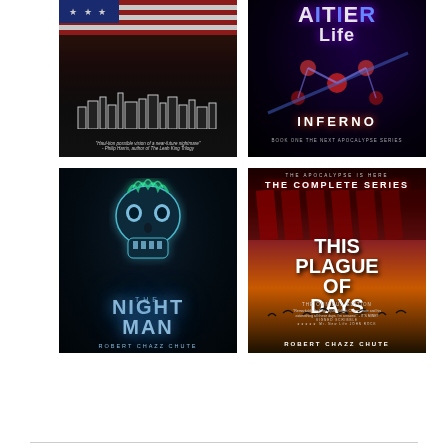[Figure (illustration): Book cover: dark background with US flag at top showing stars and red/white stripes, city skyline silhouette in the middle, tagline text at bottom. Near-future dystopian fiction cover.]
[Figure (illustration): Book cover: 'Alien Life - Inferno, Book One The Next Apocalypse Series' on dark purple/black background with glowing red molecules and a syringe/needle graphic.]
[Figure (illustration): Book cover: 'The Night Man' by Robert Chazz Chute. Dark background with glowing blue-green skull, text in blue metallic style.]
[Figure (illustration): Book cover: 'This Plague of Days - The Complete Series - The Omnibus Edition' by Robert Chazz Chute. American flag stripes in background with warm orange glow at bottom, birds silhouettes.]